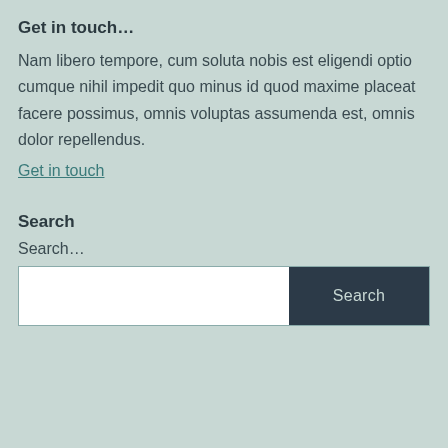Get in touch…
Nam libero tempore, cum soluta nobis est eligendi optio cumque nihil impedit quo minus id quod maxime placeat facere possimus, omnis voluptas assumenda est, omnis dolor repellendus.
Get in touch
Search
Search…